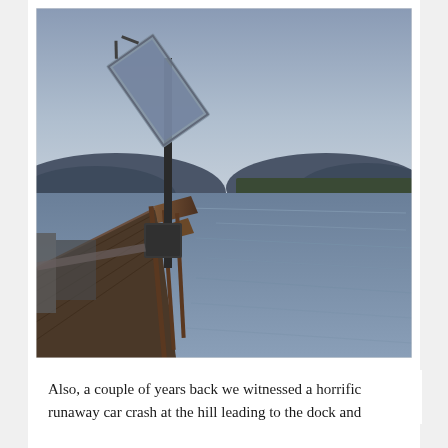[Figure (photo): A dock with wooden planks and a railing extending into a calm lake at dusk. A tilted sign or panel is mounted on a pole on the dock. Mountains and trees are visible in the background under a blue-grey overcast sky.]
Also, a couple of years back we witnessed a horrific runaway car crash at the hill leading to the dock and